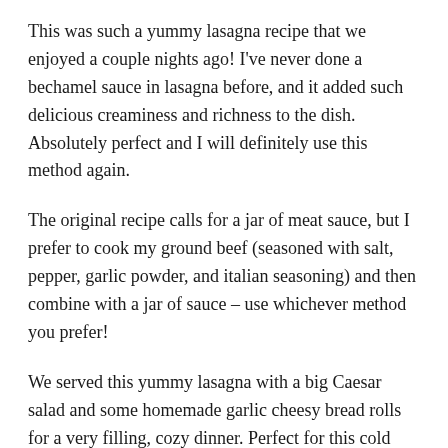This was such a yummy lasagna recipe that we enjoyed a couple nights ago! I've never done a bechamel sauce in lasagna before, and it added such delicious creaminess and richness to the dish. Absolutely perfect and I will definitely use this method again.
The original recipe calls for a jar of meat sauce, but I prefer to cook my ground beef (seasoned with salt, pepper, garlic powder, and italian seasoning) and then combine with a jar of sauce – use whichever method you prefer!
We served this yummy lasagna with a big Caesar salad and some homemade garlic cheesy bread rolls for a very filling, cozy dinner. Perfect for this cold weather. I've been craving lasagna for awhile now, and this one totally hit the spot.